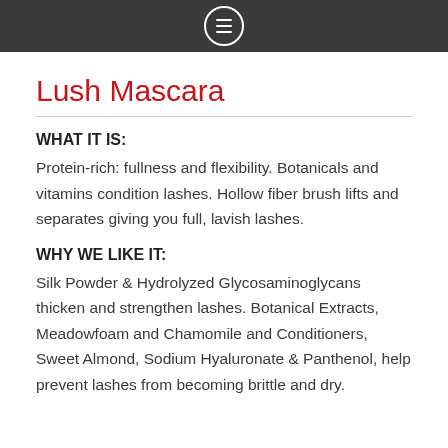[Figure (other): Dark navigation header bar with a hamburger menu icon inside a circle]
Lush Mascara
WHAT IT IS:
Protein-rich: fullness and flexibility. Botanicals and vitamins condition lashes. Hollow fiber brush lifts and separates giving you full, lavish lashes.
WHY WE LIKE IT:
Silk Powder & Hydrolyzed Glycosaminoglycans thicken and strengthen lashes. Botanical Extracts, Meadowfoam and Chamomile and Conditioners, Sweet Almond, Sodium Hyaluronate & Panthenol, help prevent lashes from becoming brittle and dry.